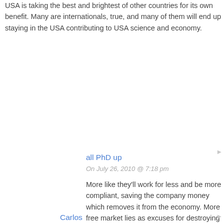USA is taking the best and brightest of other countries for its own benefit. Many are internationals, true, and many of them will end up staying in the USA contributing to USA science and economy.
all PhD up
On July 26, 2010 @ 7:18 pm
More like they'll work for less and be more compliant, saving the company money which removes it from the economy. More free market lies as excuses for destroying the middle class.
Carlos